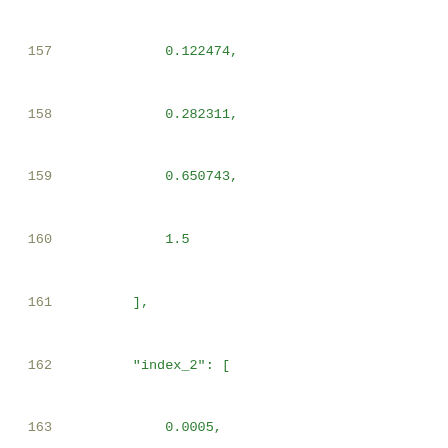Code listing lines 157-177 showing JSON array data with index_2 and values keys and numeric float values